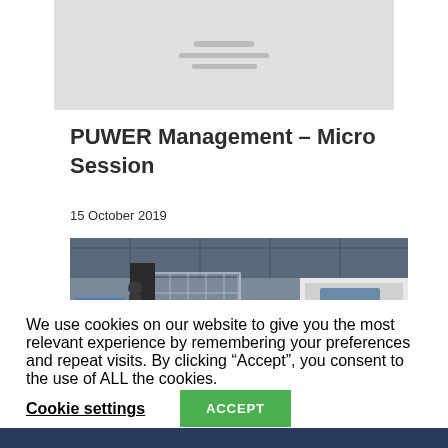[Figure (other): Gray placeholder image with horizontal lines (loading state)]
PUWER Management – Micro Session
15 October 2019
[Figure (photo): Industrial warehouse scene showing wire mesh cages/containers and a white truck cab, inside a large facility with structural steel roof]
We use cookies on our website to give you the most relevant experience by remembering your preferences and repeat visits. By clicking “Accept”, you consent to the use of ALL the cookies.
Cookie settings
ACCEPT